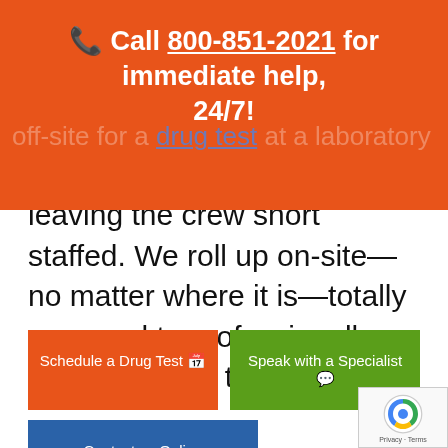Call 800-851-2021 for immediate help, 24/7!
leaving the crew short staffed. We roll up on-site—no matter where it is—totally prepared to professionally administer the test.
Schedule a Drug Test
Speak with a Specialist
Contact us Online